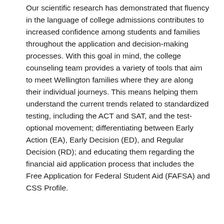Our scientific research has demonstrated that fluency in the language of college admissions contributes to increased confidence among students and families throughout the application and decision-making processes. With this goal in mind, the college counseling team provides a variety of tools that aim to meet Wellington families where they are along their individual journeys. This means helping them understand the current trends related to standardized testing, including the ACT and SAT, and the test-optional movement; differentiating between Early Action (EA), Early Decision (ED), and Regular Decision (RD); and educating them regarding the financial aid application process that includes the Free Application for Federal Student Aid (FAFSA) and CSS Profile.